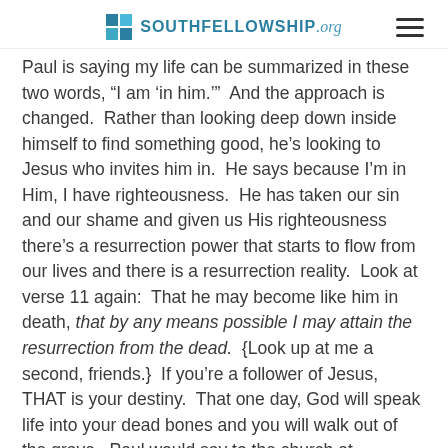SOUTHFELLOWSHIP.org
Paul is saying my life can be summarized in these two words, "I am 'in him.'"  And the approach is changed.  Rather than looking deep down inside himself to find something good, he's looking to Jesus who invites him in.  He says because I'm in Him, I have righteousness.  He has taken our sin and our shame and given us His righteousness there's a resurrection power that starts to flow from our lives and there is a resurrection reality.  Look at verse 11 again:  That he may become like him in death, that by any means possible I may attain the resurrection from the dead.  {Look up at me a second, friends.}  If you're a follower of Jesus, THAT is your destiny.  That one day, God will speak life into your dead bones and you will walk out of the grave.  Paul would say to the church at Colossae (Col. 3:3-4):  For you have died, and your